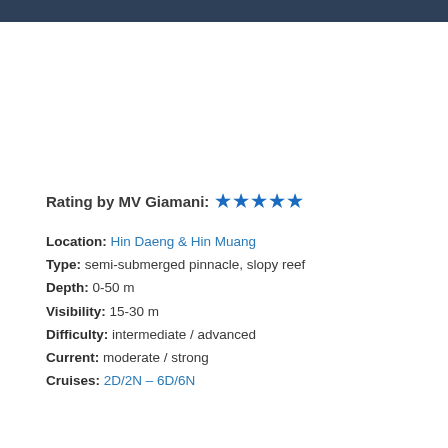Rating by MV Giamani: ★★★★★
Location: Hin Daeng & Hin Muang
Type: semi-submerged pinnacle, slopy reef
Depth: 0-50 m
Visibility: 15-30 m
Difficulty: intermediate / advanced
Current: moderate / strong
Cruises: 2D/2N – 6D/6N